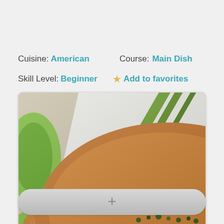Cuisine: American    Course: Main Dish
Skill Level: Beginner   ★ Add to favorites
[Figure (photo): Close-up photo of grilled or pan-seared chicken with herb topping (looks like capers or salsa verde) on a white plate, with lime/lemon wedges and a second piece of chicken partially visible at the bottom.]
+